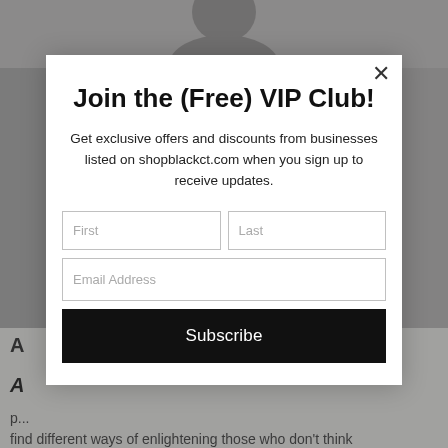[Figure (photo): Grayscale photo of a person partially visible at the top of the page behind a modal overlay]
Join the (Free) VIP Club!
Get exclusive offers and discounts from businesses listed on shopblackct.com when you sign up to receive updates.
First | Last | Email Address | Subscribe
A

A

p...
find different ways of enlightening those who don't think they can draw, with a "process not product" mindset. By